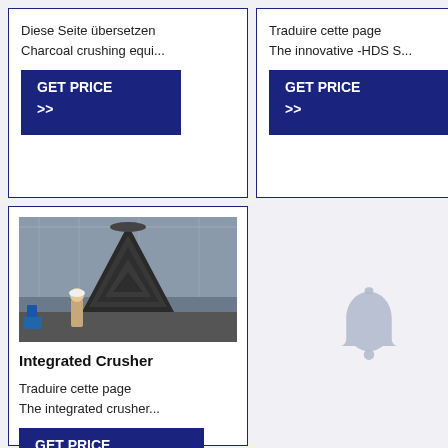Diese Seite übersetzen
Charcoal crushing equi...
[Figure (other): GET PRICE >> button (dark blue)]
Traduire cette page
The innovative -HDS S...
[Figure (other): GET PRICE >> button (dark blue)]
[Figure (photo): Photo of a large industrial integrated crusher in a factory setting with a worker in foreground]
Integrated Crusher
Traduire cette page
The integrated crusher...
[Figure (other): GET PRICE >> button (dark blue)]
[Figure (illustration): Bell/notification icon in muted blue-grey color]